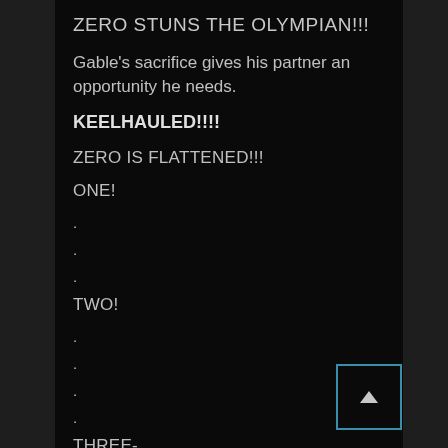ZERO STUNS THE OLYMPIAN!!!
Gable's sacrifice gives his partner an opportunity he needs.
KEELHAULED!!!!
ZERO IS FLATTENED!!!
ONE!
.
.
.
TWO!
.
.
.
.
THREE-
[Figure (other): Scroll-up button with upward triangle arrow, bordered in blue/teal]